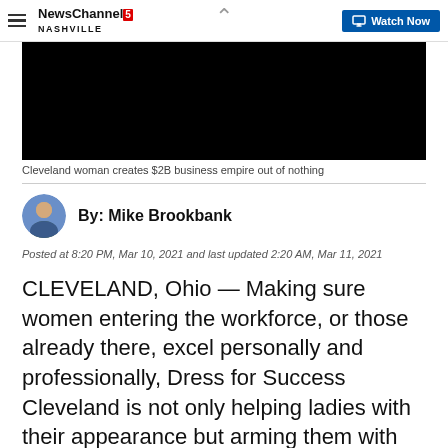NewsChannel 5 Nashville | Watch Now
[Figure (screenshot): Black video thumbnail area]
Cleveland woman creates $2B business empire out of nothing
By: Mike Brookbank
Posted at 8:20 PM, Mar 10, 2021 and last updated 2:20 AM, Mar 11, 2021
CLEVELAND, Ohio — Making sure women entering the workforce, or those already there, excel personally and professionally, Dress for Success Cleveland is not only helping ladies with their appearance but arming them with the skills they need to be successful.